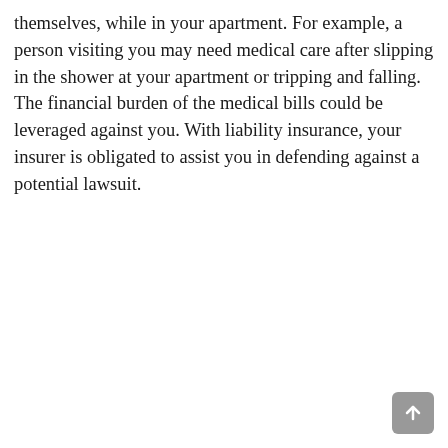themselves, while in your apartment. For example, a person visiting you may need medical care after slipping in the shower at your apartment or tripping and falling. The financial burden of the medical bills could be leveraged against you. With liability insurance, your insurer is obligated to assist you in defending against a potential lawsuit.